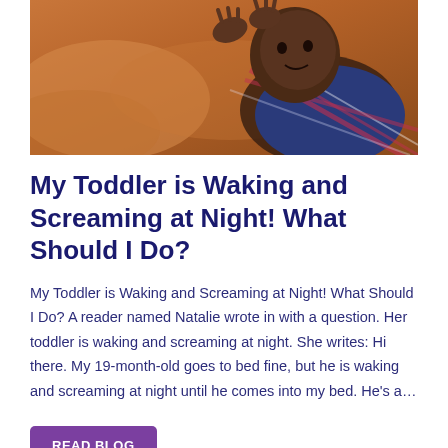[Figure (photo): A young Black toddler lying on a bed, wearing a plaid shirt, with hands raised. Warm-toned photo.]
My Toddler is Waking and Screaming at Night! What Should I Do?
My Toddler is Waking and Screaming at Night! What Should I Do? A reader named Natalie wrote in with a question. Her toddler is waking and screaming at night. She writes: Hi there. My 19-month-old goes to bed fine, but he is waking and screaming at night until he comes into my bed. He's a…
READ BLOG